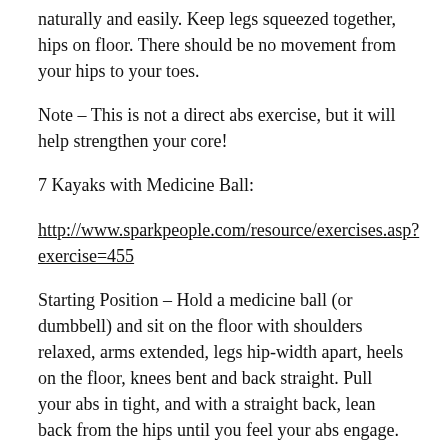naturally and easily. Keep legs squeezed together, hips on floor. There should be no movement from your hips to your toes.
Note – This is not a direct abs exercise, but it will help strengthen your core!
7 Kayaks with Medicine Ball:
http://www.sparkpeople.com/resource/exercises.asp?exercise=455
Starting Position – Hold a medicine ball (or dumbbell) and sit on the floor with shoulders relaxed, arms extended, legs hip-width apart, heels on the floor, knees bent and back straight. Pull your abs in tight, and with a straight back, lean back from the hips until you feel your abs engage. Hold that position and lift both feet off the floor (pictured).